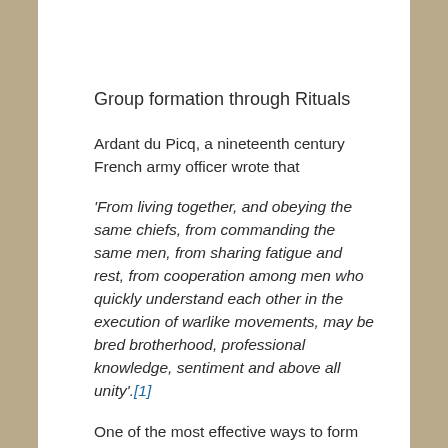Group formation through Rituals
Ardant du Picq, a nineteenth century French army officer wrote that
'From living together, and obeying the same chiefs, from commanding the same men, from sharing fatigue and rest, from cooperation among men who quickly understand each other in the execution of warlike movements, may be bred brotherhood, professional knowledge, sentiment and above all unity'.[1]
One of the most effective ways to form cohesive groups is through 'Rituals'. Tarah Barkowi rightly